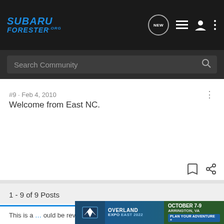SUBARU FORESTER.ORG
Search Community
#9 · Feb 4, 2010
Welcome from East NC.
1 - 9 of 9 Posts
This is a ... ould be reviving ...
[Figure (screenshot): Overland Expo East 2022 advertisement banner: October 7-9, Arrington, VA - Plan Your Adventure]